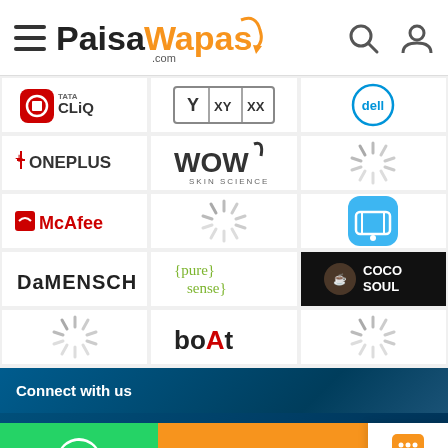[Figure (logo): PaisaWapas.com website header with hamburger menu, logo, search and user icons]
[Figure (infographic): Brand logos grid: Tata CLiQ, XYXX, Dell, OnePlus, WOW Skin Science, loading spinner, McAfee, loading spinner, Meesho, DaMENSCH, Pure Sense, Coco Soul, loading spinner, boAt, loading spinner]
Connect with us
[Figure (infographic): Bottom bar with WhatsApp button (green), BUY NOW button (orange), and We're Online chat widget]